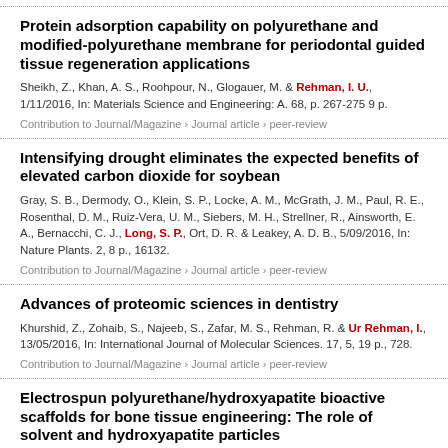Protein adsorption capability on polyurethane and modified-polyurethane membrane for periodontal guided tissue regeneration applications
Sheikh, Z., Khan, A. S., Roohpour, N., Glogauer, M. & Rehman, I. U., 1/11/2016, In: Materials Science and Engineering: A. 68, p. 267-275 9 p.
Contribution to Journal/Magazine › Journal article › peer-review
Intensifying drought eliminates the expected benefits of elevated carbon dioxide for soybean
Gray, S. B., Dermody, O., Klein, S. P., Locke, A. M., McGrath, J. M., Paul, R. E., Rosenthal, D. M., Ruiz-Vera, U. M., Siebers, M. H., Strellner, R., Ainsworth, E. A., Bernacchi, C. J., Long, S. P., Ort, D. R. & Leakey, A. D. B., 5/09/2016, In: Nature Plants. 2, 8 p., 16132.
Contribution to Journal/Magazine › Journal article › peer-review
Advances of proteomic sciences in dentistry
Khurshid, Z., Zohaib, S., Najeeb, S., Zafar, M. S., Rehman, R. & Ur Rehman, I., 13/05/2016, In: International Journal of Molecular Sciences. 17, 5, 19 p., 728.
Contribution to Journal/Magazine › Journal article › peer-review
Electrospun polyurethane/hydroxyapatite bioactive scaffolds for bone tissue engineering: The role of solvent and hydroxyapatite particles